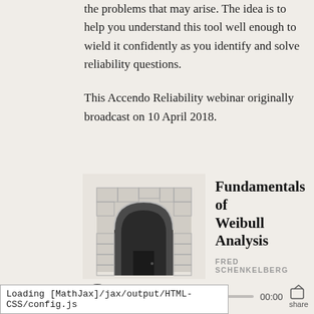the problems that may arise. The idea is to help you understand this tool well enough to wield it confidently as you identify and solve reliability questions.

This Accendo Reliability webinar originally broadcast on 10 April 2018.
[Figure (other): Podcast player card showing an illustration of a stone archway/tunnel, title 'Fundamentals of Weibull Analysis', author 'FRED SCHENKELBERG', with audio player controls showing 00:00 timestamps and a progress bar, and a share button.]
Loading [MathJax]/jax/output/HTML-CSS/config.js